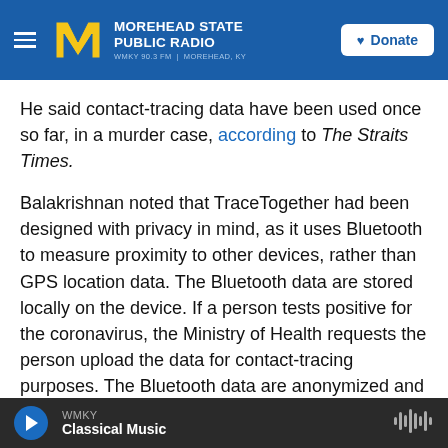Morehead State Public Radio — WMKY 90.3 FM | Morehead, KY — Donate
He said contact-tracing data have been used once so far, in a murder case, according to The Straits Times.
Balakrishnan noted that TraceTogether had been designed with privacy in mind, as it uses Bluetooth to measure proximity to other devices, rather than GPS location data. The Bluetooth data are stored locally on the device. If a person tests positive for the coronavirus, the Ministry of Health requests the person upload the data for contact-tracing purposes. The Bluetooth data are anonymized and deleted from an individual's device after 25 days
WMKY — Classical Music